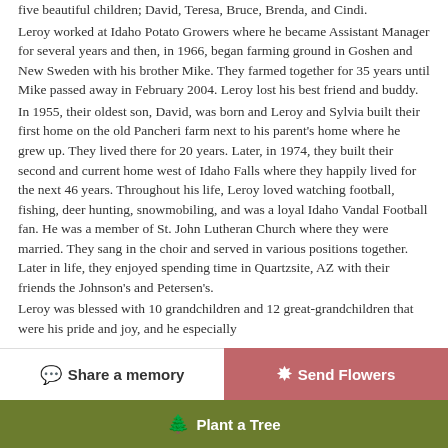five beautiful children; David, Teresa, Bruce, Brenda, and Cindi. Leroy worked at Idaho Potato Growers where he became Assistant Manager for several years and then, in 1966, began farming ground in Goshen and New Sweden with his brother Mike. They farmed together for 35 years until Mike passed away in February 2004. Leroy lost his best friend and buddy. In 1955, their oldest son, David, was born and Leroy and Sylvia built their first home on the old Pancheri farm next to his parent's home where he grew up. They lived there for 20 years. Later, in 1974, they built their second and current home west of Idaho Falls where they happily lived for the next 46 years. Throughout his life, Leroy loved watching football, fishing, deer hunting, snowmobiling, and was a loyal Idaho Vandal Football fan. He was a member of St. John Lutheran Church where they were married. They sang in the choir and served in various positions together. Later in life, they enjoyed spending time in Quartzsite, AZ with their friends the Johnson's and Petersen's. Leroy was blessed with 10 grandchildren and 12 great-grandchildren that were his pride and joy, and he especially
Share a memory | Send Flowers | Plant a Tree